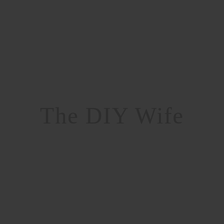[Figure (logo): Dark gray square background with cursive script text 'The DIY Wife' centered, rendered in a slightly darker shade than the background, creating a subtle embossed effect.]